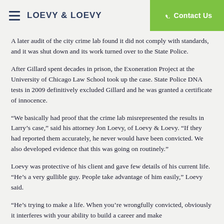LOEVY & LOEVY | Contact Us
A later audit of the city crime lab found it did not comply with standards, and it was shut down and its work turned over to the State Police.
After Gillard spent decades in prison, the Exoneration Project at the University of Chicago Law School took up the case. State Police DNA tests in 2009 definitively excluded Gillard and he was granted a certificate of innocence.
“We basically had proof that the crime lab misrepresented the results in Larry’s case,” said his attorney Jon Loevy, of Loevy & Loevy. “If they had reported them accurately, he never would have been convicted. We also developed evidence that this was going on routinely.”
Loevy was protective of his client and gave few details of his current life. “He’s a very gullible guy. People take advantage of him easily,” Loevy said.
“He’s trying to make a life. When you’re wrongfully convicted, obviously it interferes with your ability to build a career and make